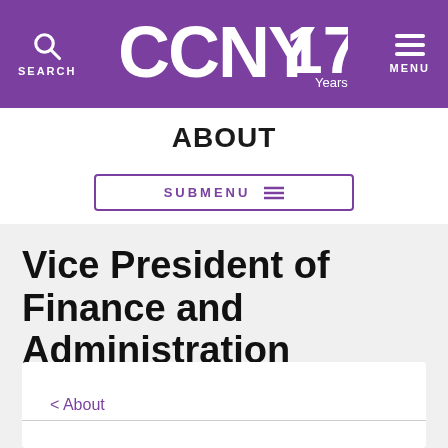CCNY 175 Years — SEARCH | MENU
ABOUT
SUBMENU
Vice President of Finance and Administration
< About